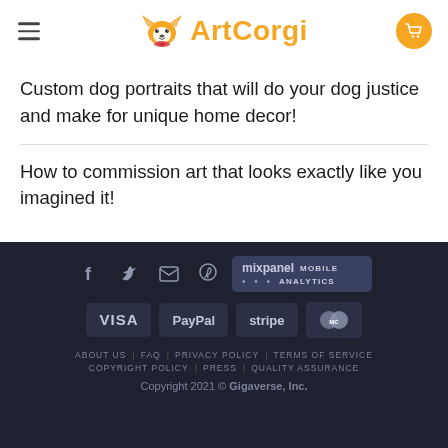ArtCorgi
Custom dog portraits that will do your dog justice and make for unique home decor!
How to commission art that looks exactly like you imagined it!
ABOUT US  FAQ  PRIVACY POLICY  TERMS OF SERVICE  COPYRIGHT POLICY  PRESS  QUALITY ASSURANCE  Copyright 2021 © Gigaverse, Inc.